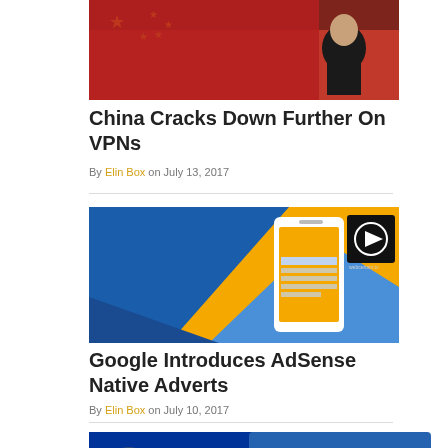[Figure (photo): Photo of a person in front of a Chinese flag]
China Cracks Down Further On VPNs
By Elin Box on July 13, 2017
[Figure (illustration): Colorful graphic with blue and yellow background showing a smartphone with AdSense-style content and a video play button overlay]
Google Introduces AdSense Native Adverts
By Elin Box on July 10, 2017
[Figure (photo): Partial photo of EU flag with yellow stars on blue background]
ENQUIRE NOW >